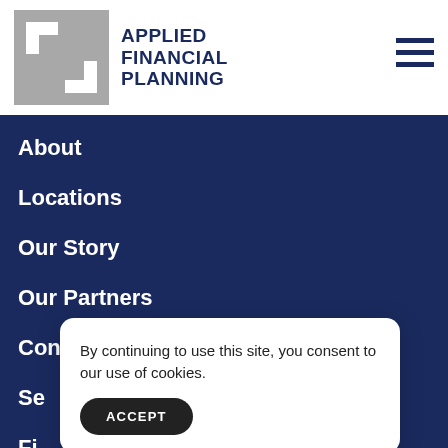[Figure (logo): Applied Financial Planning logo: grey square with interlocking arrow/chevron shapes in white, followed by bold navy text reading APPLIED FINANCIAL PLANNING]
About
Locations
Our Story
Our Partners
Contact Us
Se
Fi
By continuing to use this site, you consent to our use of cookies.
ACCEPT